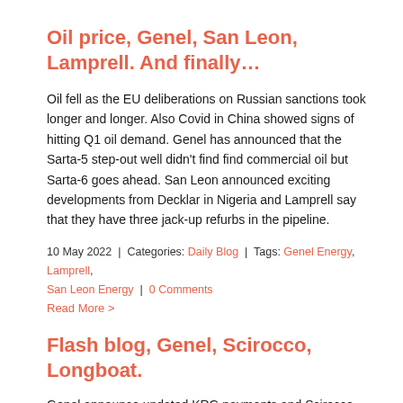Oil price, Genel, San Leon, Lamprell. And finally…
Oil fell as the EU deliberations on Russian sanctions took longer and longer. Also Covid in China showed signs of hitting Q1 oil demand. Genel has announced that the Sarta-5 step-out well didn't find find commercial oil but Sarta-6 goes ahead. San Leon announced exciting developments from Decklar in Nigeria and Lamprell say that they have three jack-up refurbs in the pipeline.
10 May 2022 | Categories: Daily Blog | Tags: Genel Energy, Lamprell, San Leon Energy | 0 Comments
Read More >
Flash blog, Genel, Scirocco, Longboat.
Genel announce updated KRG payments and Scirocco have a quarterly update on EAG and Ruvuma. Longboat have added two exciting gas-weighted wells to their Norwegian